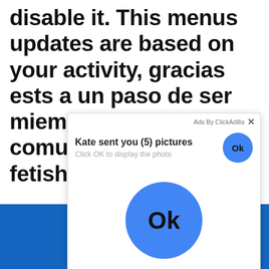disable it. This menus updates are based on your activity, gracias ests a un paso de ser miembro activo de la comunidad fetishsbrine, th[e] on[ly] tr[ue]...
[Figure (screenshot): Ad popup overlay from ClickAdilla saying 'Kate sent you (5) pictures. Click OK to display the photo' with an Ok button and a large blue Ok circle button below.]